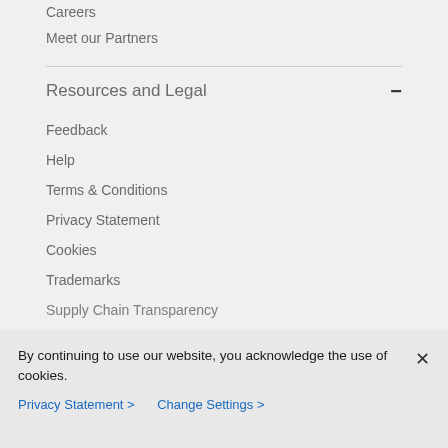Careers
Meet our Partners
Resources and Legal
Feedback
Help
Terms & Conditions
Privacy Statement
Cookies
Trademarks
Supply Chain Transparency
By continuing to use our website, you acknowledge the use of cookies.
Privacy Statement > Change Settings >